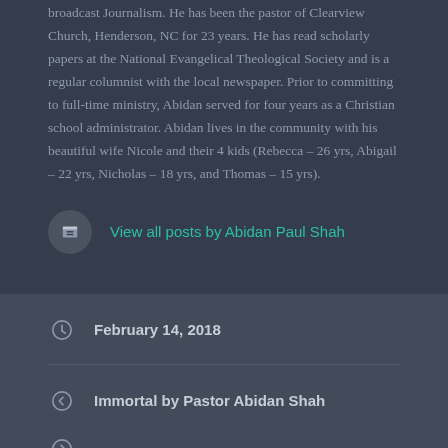broadcast Journalism. He has been the pastor of Clearview Church, Henderson, NC for 23 years. He has read scholarly papers at the National Evangelical Theological Society and is a regular columnist with the local newspaper. Prior to committing to full-time ministry, Abidan served for four years as a Christian school administrator. Abidan lives in the community with his beautiful wife Nicole and their 4 kids (Rebecca – 26 yrs, Abigail – 22 yrs, Nicholas – 18 yrs, and Thomas – 15 yrs).
View all posts by Abidan Paul Shah
February 14, 2018
Immortal by Pastor Abidan Shah